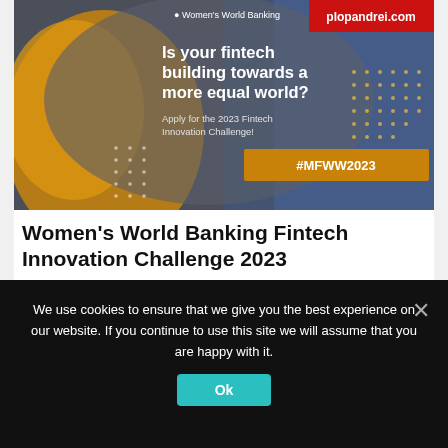[Figure (illustration): Women's World Banking Fintech Innovation Challenge 2023 promotional banner. Dark grey background with woman holding phone on the left (yellow/orange tones), blue-tinted woman in traditional dress on the right. Text overlay: 'Is your fintech building towards a more equal world?' and 'Apply for the 2023 Fintech Innovation Challenge!' with hashtag #MFWW2023 in a golden/orange bar. Red box top-right with plopandrei.com. Women's World Banking logo top-center.]
Women's World Banking Fintech Innovation Challenge 2023
We use cookies to ensure that we give you the best experience on our website. If you continue to use this site we will assume that you are happy with it.
Ok